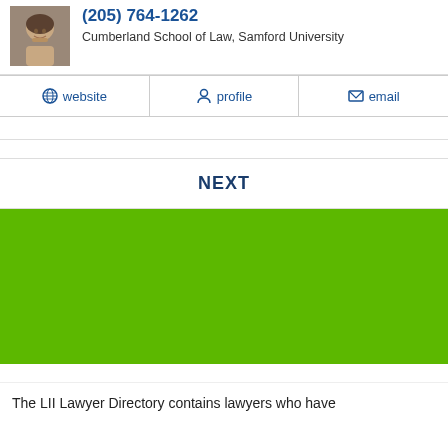(205) 764-1262
Cumberland School of Law, Samford University
website  profile  email
NEXT
[Figure (other): Green advertisement banner block]
The LII Lawyer Directory contains lawyers who have